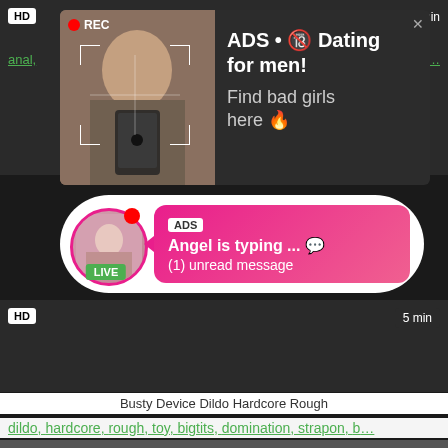[Figure (screenshot): Top dark video thumbnail area with HD badge and time]
[Figure (screenshot): Ad popup overlay with woman selfie photo and dating ad text: ADS • Dating for men! Find bad girls here]
[Figure (screenshot): Chat notification bubble with avatar showing LIVE badge, ADS label, Angel is typing ... (1) unread message]
[Figure (screenshot): Bottom dark video thumbnail area with HD badge and 5 min label]
Busty Device Dildo Hardcore Rough
dildo, hardcore, rough, toy, bigtits, domination, strapon, b...